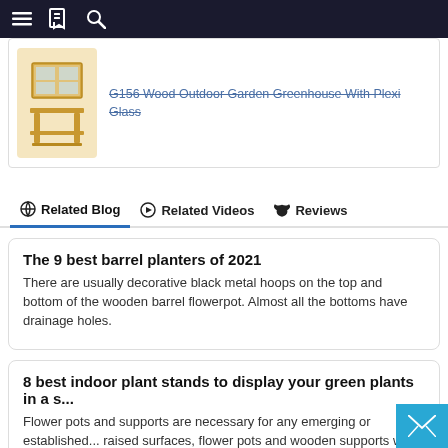Navigation bar with menu, bookmark, and search icons
[Figure (photo): Wooden outdoor garden greenhouse product image - small wooden stand with shelves]
G156 Wood Outdoor Garden Greenhouse With Plexi Glass
Related Blog | Related Videos | Reviews
The 9 best barrel planters of 2021
There are usually decorative black metal hoops on the top and bottom of the wooden barrel flowerpot. Almost all the bottoms have drainage holes.
8 best indoor plant stands to display your green plants in a s...
Flower pots and supports are necessary for any emerging or established... raised surfaces, flower pots and wooden supports with legs or wires...
Plant stands will upgrade your home garden
This plant stand is made of durable natural bamboo wood, strong... the material used to make this multi-layer flower pot is iron, which...